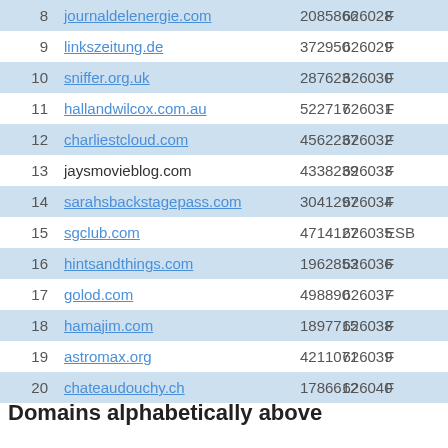| # | Domain | Visits | ID | Type |
| --- | --- | --- | --- | --- |
| 8 | journaldelenergie.com | 2085866 | 626028 | F |
| 9 | linkszeitung.de | 372950 | 626029 | F |
| 10 | sniffer.org.uk | 287623 | 626030 | F |
| 11 | hallandwilcox.com.au | 522717 | 626031 | F |
| 12 | charliestcloud.com | 4562237 | 626032 | F |
| 13 | jaysmovieblog.com | 4338239 | 626033 | F |
| 14 | sarahsbackstagepass.com | 3041297 | 626034 | F |
| 15 | sgclub.com | 4714127 | 626035 | ESB |
| 16 | hintsandthings.com | 1962853 | 626036 | F |
| 17 | golod.com | 498890 | 626037 | F |
| 18 | hamajim.com | 1897715 | 626038 | F |
| 19 | astromax.org | 4211071 | 626039 | F |
| 20 | chateaudouchy.ch | 1786612 | 626040 | F |
Domains alphabetically above